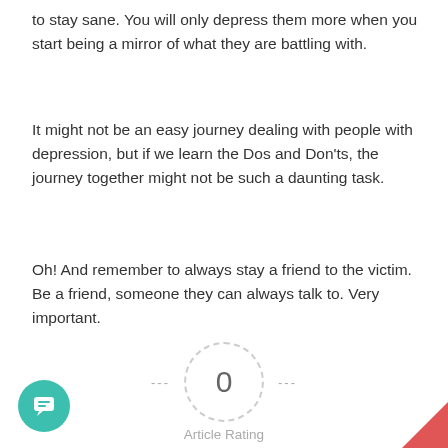to stay sane. You will only depress them more when you start being a mirror of what they are battling with.
It might not be an easy journey dealing with people with depression, but if we learn the Dos and Don'ts, the journey together might not be such a daunting task.
Oh! And remember to always stay a friend to the victim. Be a friend, someone they can always talk to. Very important.
[Figure (other): Article rating widget showing a dashed circle with '0' in the center, dashes on either side, label 'Article Rating' below, and five empty star icons beneath]
[Figure (other): Teal circular chat button icon in bottom-left corner]